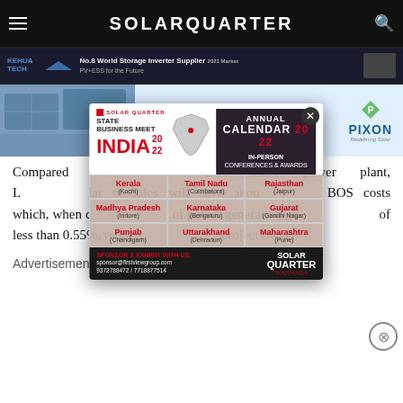SOLARQUARTER
[Figure (screenshot): KEHUA TECH banner ad: No.8 World Storage Inverter Supplier, PV+ESS for the Future]
[Figure (photo): Solar panel installation image with blue sky]
[Figure (infographic): PIXON advertisement: Choose the Competent and Coherent Choice of Modules!]
Compared with land-based solar power plant, L... lar modules will save about ... BOS costs which, when c... of power generation ga... of less than 0.55%, reduce ... project owner.
[Figure (infographic): Solar Quarter State Business Meet India 2022 popup ad. Annual Calendar 2022. In-person Conferences & Awards. States: Kerala (Kochi), Tamil Nadu (Coimbatore), Rajasthan (Jaipur), Madhya Pradesh (Indore), Karnataka (Bengaluru), Gujarat (Gandhi Nagar), Punjab (Chandigarh), Uttarakhand (Dehradun), Maharashtra (Pune). Sponsor & Exhibit: sponsor@firstviewgroup.com, 9372788472/7718877514. Solar Quarter South Asia.]
Advertisements